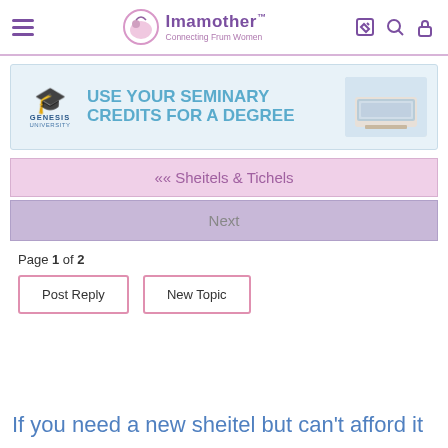Imamother™ — Connecting Frum Women
[Figure (infographic): Genesis University advertisement banner: 'USE YOUR SEMINARY CREDITS FOR A DEGREE' with graduation cap logo and laptop image]
« Sheitels & Tichels
Next
Page 1 of 2
Post Reply
New Topic
If you need a new sheitel but can't afford it